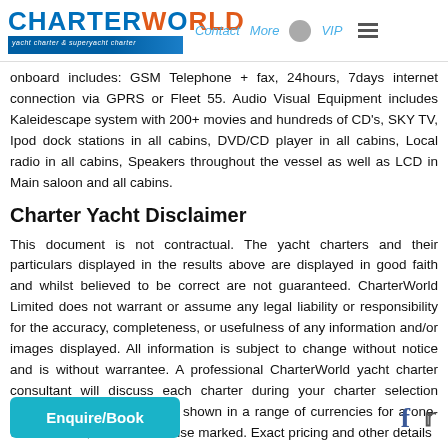CharterWorld - Contact More VIP
onboard includes: GSM Telephone + fax, 24hours, 7days internet connection via GPRS or Fleet 55. Audio Visual Equipment includes Kaleidescape system with 200+ movies and hundreds of CD's, SKY TV, Ipod dock stations in all cabins, DVD/CD player in all cabins, Local radio in all cabins, Speakers throughout the vessel as well as LCD in Main saloon and all cabins.
Charter Yacht Disclaimer
This document is not contractual. The yacht charters and their particulars displayed in the results above are displayed in good faith and whilst believed to be correct are not guaranteed. CharterWorld Limited does not warrant or assume any legal liability or responsibility for the accuracy, completeness, or usefulness of any information and/or images displayed. All information is subject to change without notice and is without warrantee. A professional CharterWorld yacht charter consultant will discuss each charter during your charter selection process. Starting prices are shown in a range of currencies for a one-week charter, unless otherwise marked. Exact pricing and other details particular charter contract. Just follow the " chosen yacht charter or contact us on